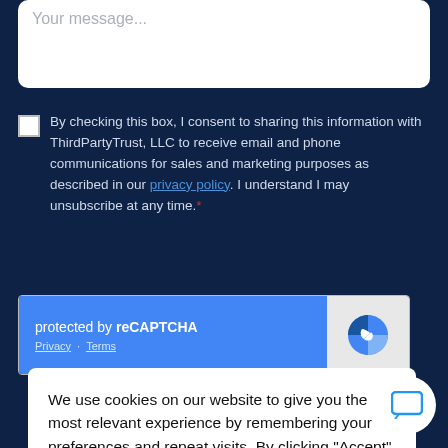Your message...
By checking this box, I consent to sharing this information with ThirdPartyTrust, LLC to receive email and phone communications for sales and marketing purposes as described in our privacy policy. I understand I may unsubscribe at any time.*
[Figure (screenshot): reCAPTCHA widget with blue background showing 'protected by reCAPTCHA' text and Privacy/Terms links, with reCAPTCHA logo on right]
We use cookies on our website to give you the most relevant experience by remembering your preferences and repeat visits. By clicking "Accept", you consent to the use of ALL the cookies.
Do not sell my personal information.
Cookie Settings
Accept
Follow us!